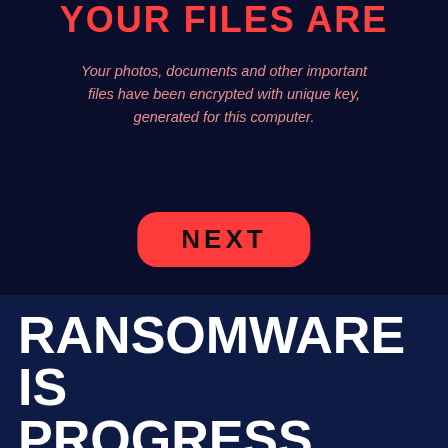[Figure (screenshot): Ransomware screen with dark background showing 'YOUR FILES ARE...' in large red bold text, body text 'Your photos, documents and other important files have been encrypted with unique key, generated for this computer.' in pink italic, and a red pill-shaped NEXT button.]
RANSOMWARE IS PROGRESS.
Cloud, CyberSecurity, Identity, Management
This website stores cookies on your computer. These cookies are used to collect information about how you interact with our website and allow us to remember you. We use this information in order to improve and customize your browsing experience and for analytics and metrics about our visitors both on this website and other media. To find out more about the cookies we use, see our Privacy Policy